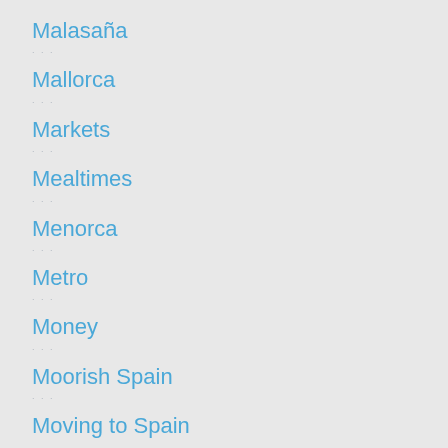Malasaña
Mallorca
Markets
Mealtimes
Menorca
Metro
Money
Moorish Spain
Moving to Spain
Murcia
Nature
Olive oil
Opening a spanish bank account
Politi...